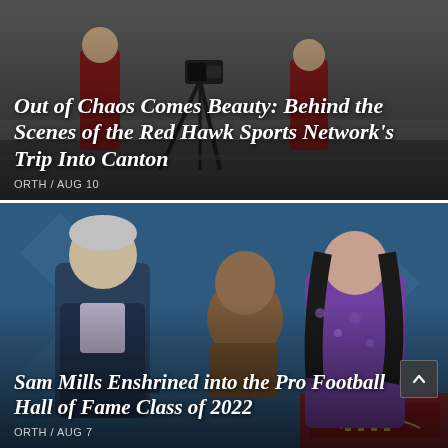[Figure (photo): Behind-the-scenes photo of Red Hawk Sports Network crew filming in Canton — camera operators on a sidewalk in red jerseys]
Out of Chaos Comes Beauty: Behind the Scenes of the Red Hawk Sports Network's Trip Into Canton
ORTH / AUG 10
[Figure (photo): Two people flanking a bronze bust of Sam Mills in front of a blue Hall of Fame backdrop — Pro Football Hall of Fame enshrinement ceremony 2022]
Sam Mills Enshrined into the Pro Football Hall of Fame Class of 2022
ORTH / AUG 7